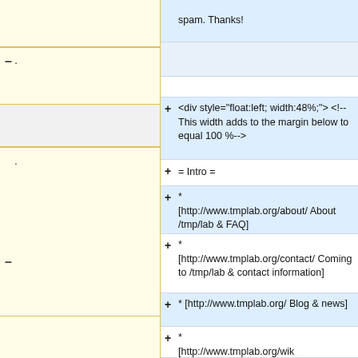spam. Thanks!
–.
(gray row)
.
–
<div style="float:left; width:48%;"> <!-- This width adds to the margin below to equal 100 %-->
= Intro =
* [http://www.tmplab.org/about/ About /tmp/lab & FAQ]
* [http://www.tmplab.org/contact/ Coming to /tmp/lab & contact information]
* [http://www.tmplab.org/ Blog & news]
* [http://www.tmplab.org/wik